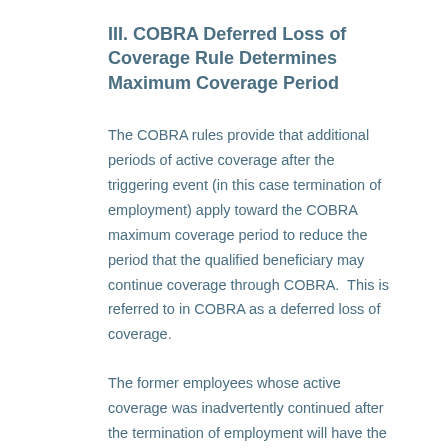III. COBRA Deferred Loss of Coverage Rule Determines Maximum Coverage Period
The COBRA rules provide that additional periods of active coverage after the triggering event (in this case termination of employment) apply toward the COBRA maximum coverage period to reduce the period that the qualified beneficiary may continue coverage through COBRA.  This is referred to in COBRA as a deferred loss of coverage.
The former employees whose active coverage was inadvertently continued after the termination of employment will have the additional months of active coverage credited to their COBRA maximum coverage period.